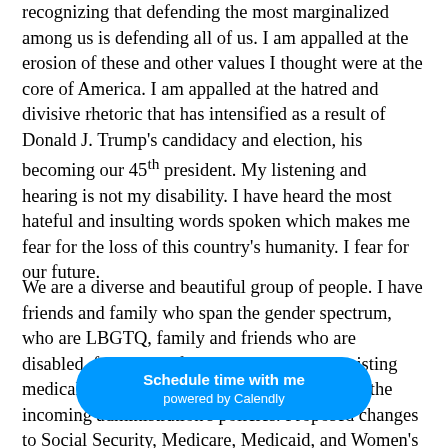recognizing that defending the most marginalized among us is defending all of us. I am appalled at the erosion of these and other values I thought were at the core of America. I am appalled at the hatred and divisive rhetoric that has intensified as a result of Donald J. Trump's candidacy and election, his becoming our 45th president. My listening and hearing is not my disability. I have heard the most hateful and insulting words spoken which makes me fear for the loss of this country's humanity. I fear for our future.
We are a diverse and beautiful group of people. I have friends and family who span the gender spectrum, who are LBGTQ, family and friends who are disabled, family and friends who have pre-existing medical conditions, and who would be hurt by the incoming administration's policies. Proposed changes to Social Security, Medicare, Medicaid, and Women's Health would directly alter my life and the lives of millions. I stand up and march with all of you, both those who support us and those who seek to diminish our lives.